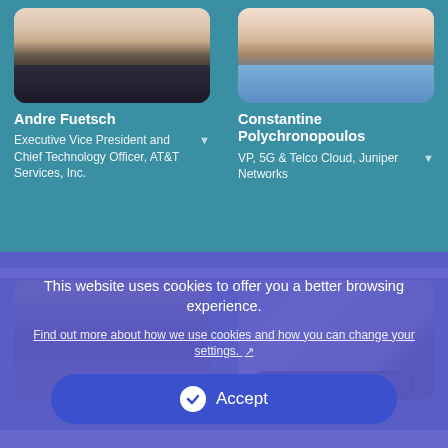[Figure (photo): Headshot of Andre Fuetsch, partial view from top]
[Figure (photo): Headshot of Constantine Polychronopoulos, partial view from top]
Andre Fuetsch
Executive Vice President and Chief Technology Officer, AT&T Services, Inc.
Constantine Polychronopoulos
VP, 5G & Telco Cloud, Juniper Networks
[Figure (photo): Headshot of a third speaker with curly dark hair]
[Figure (photo): Headshot of a fourth speaker, bald with glasses]
This website uses cookies to offer you a better browsing experience.
Find out more about how we use cookies and how you can change your settings.
Accept